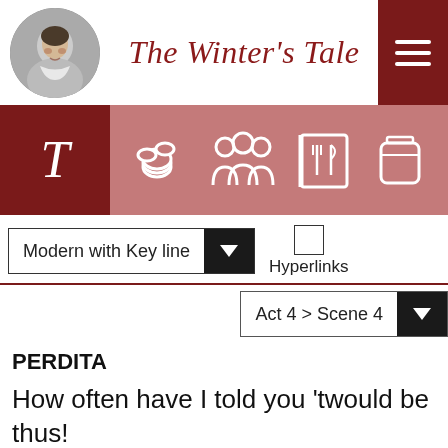The Winter's Tale
[Figure (screenshot): Navigation toolbar with icons: T (text), coins, people, recipe book, jar, and Hyperlinks checkbox, plus Act 4 > Scene 4 dropdown]
Modern with Key line
Hyperlinks
Act 4 > Scene 4
PERDITA
How often have I told you 'twould be thus!
How often said my dignity would last